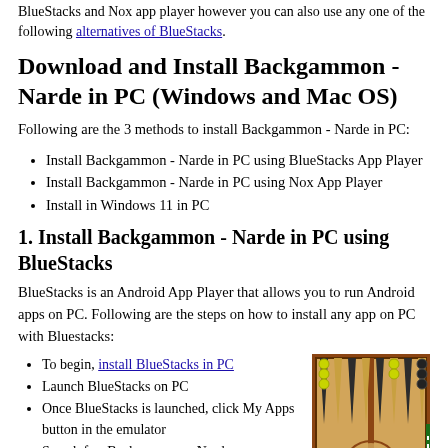BlueStacks and Nox app player however you can also use any one of the following alternatives of BlueStacks.
Download and Install Backgammon - Narde in PC (Windows and Mac OS)
Following are the 3 methods to install Backgammon - Narde in PC:
Install Backgammon - Narde in PC using BlueStacks App Player
Install Backgammon - Narde in PC using Nox App Player
Install in Windows 11 in PC
1. Install Backgammon - Narde in PC using BlueStacks
BlueStacks is an Android App Player that allows you to run Android apps on PC. Following are the steps on how to install any app on PC with Bluestacks:
To begin, install BlueStacks in PC
Launch BlueStacks on PC
Once BlueStacks is launched, click My Apps button in the emulator
Search for: Backgammon - Narde
You will see search result for Backgammon - Narde app just install it
Login to your Google account to download apps from Google Play on Bluestacks
[Figure (photo): Screenshot of Backgammon - Narde game board showing wooden backgammon board with dark and light pieces]